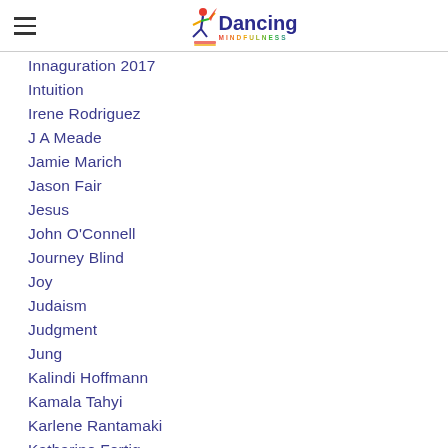Dancing Mindfulness
Innaguration 2017
Intuition
Irene Rodriguez
J A Meade
Jamie Marich
Jason Fair
Jesus
John O'Connell
Journey Blind
Joy
Judaism
Judgment
Jung
Kalindi Hoffmann
Kamala Tahyi
Karlene Rantamaki
Katharine Fertig